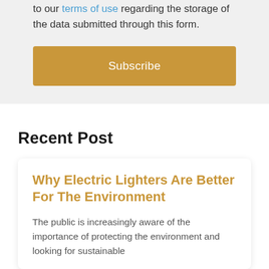to our terms of use regarding the storage of the data submitted through this form.
Subscribe
Recent Post
Why Electric Lighters Are Better For The Environment
The public is increasingly aware of the importance of protecting the environment and looking for sustainable